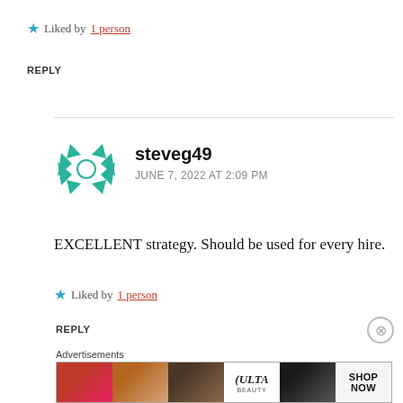★ Liked by 1 person
REPLY
[Figure (logo): Teal snowflake/asterisk avatar icon for user steveg49]
steveg49
JUNE 7, 2022 AT 2:09 PM
EXCELLENT strategy. Should be used for every hire.
★ Liked by 1 person
REPLY
Advertisements
[Figure (photo): Ulta Beauty advertisement banner showing makeup/cosmetics images with SHOP NOW button]